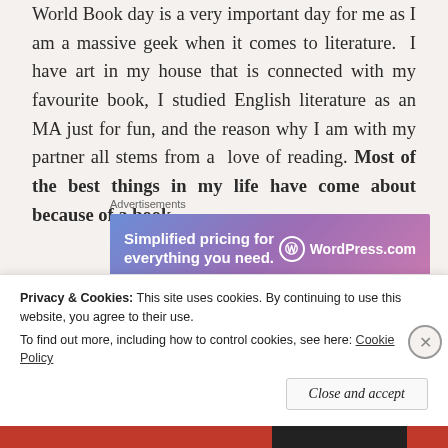World Book day is a very important day for me as I am a massive geek when it comes to literature.  I have art in my house that is connected with my favourite book, I studied English literature as an MA just for fun, and the reason why I am with my partner all stems from a  love of reading. Most of the best things in my life have come about because of a book.
[Figure (other): WordPress.com advertisement banner with gradient blue-purple-pink background. Text reads 'Simplified pricing for everything you need.' with WordPress.com logo on the right.]
Ok so I am a little passionate about reading... but I also
Privacy & Cookies: This site uses cookies. By continuing to use this website, you agree to their use.
To find out more, including how to control cookies, see here: Cookie Policy
Close and accept